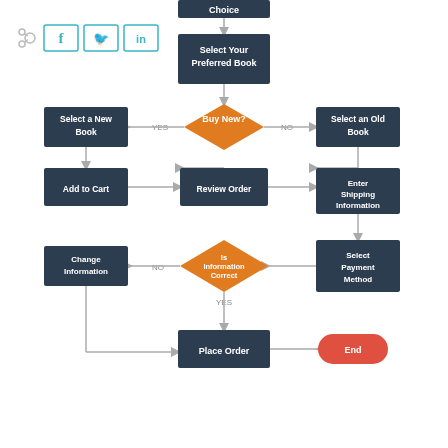[Figure (flowchart): Book ordering flowchart showing steps: Choice -> Select Your Preferred Book -> Buy New? (diamond) with YES->Select a New Book and NO->Select an Old Book, both leading to Add to Cart -> Review Order -> Enter Shipping Information -> Select Payment Method -> Is Information Correct? (diamond) with NO->Change Information loop and YES->Place Order -> End]